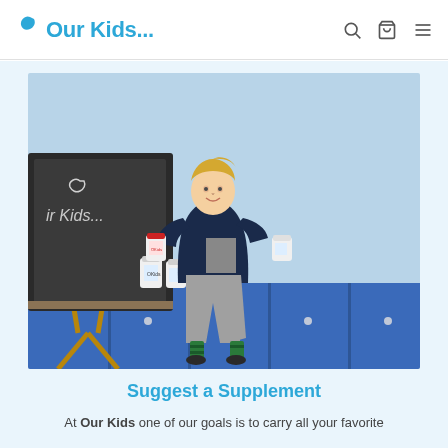Our Kids...
[Figure (photo): A smiling blonde boy sitting on top of blue school lockers, holding two supplement bottles in each hand. A chalkboard easel to the left reads 'Our Kids...' with the brand logo. Additional supplement bottles are on top of the lockers beside him. Background is light blue.]
Suggest a Supplement
At Our Kids one of our goals is to carry all your favorite